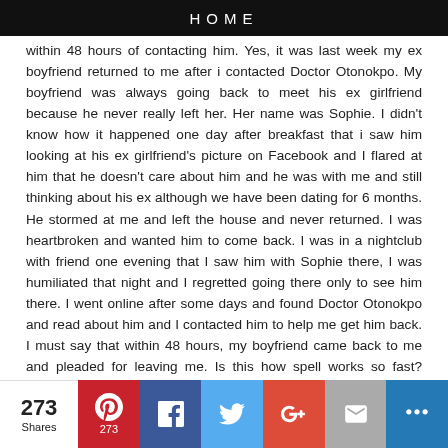HOME
within 48 hours of contacting him. Yes, it was last week my ex boyfriend returned to me after i contacted Doctor Otonokpo. My boyfriend was always going back to meet his ex girlfriend because he never really left her. Her name was Sophie. I didn't know how it happened one day after breakfast that i saw him looking at his ex girlfriend's picture on Facebook and I flared at him that he doesn't care about him and he was with me and still thinking about his ex although we have been dating for 6 months. He stormed at me and left the house and never returned. I was heartbroken and wanted him to come back. I was in a nightclub with friend one evening that I saw him with Sophie there, I was humiliated that night and I regretted going there only to see him there. I went online after some days and found Doctor Otonokpo and read about him and I contacted him to help me get him back. I must say that within 48 hours, my boyfriend came back to me and pleaded for leaving me. Is this how spell works so fast? Please, if you want help, contact
273 Shares